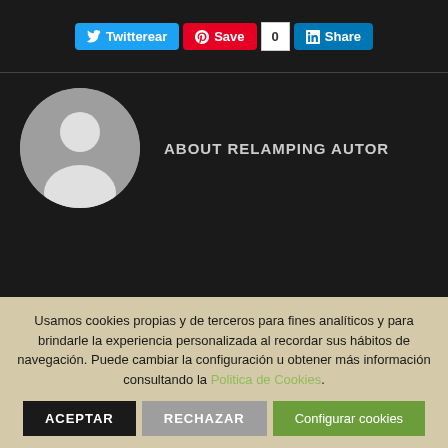[Figure (screenshot): Social sharing buttons: Twitter (blue), Pinterest Save (red), count badge showing 0, LinkedIn Share (blue)]
[Figure (photo): Default author avatar — grey circle with white silhouette of a person]
ABOUT RELAMPING AUTOR
WHAT YOU CAN READ NEXT
Usamos cookies propias y de terceros para fines analíticos y para brindarle la experiencia personalizada al recordar sus hábitos de navegación. Puede cambiar la configuración u obtener más información consultando la Politica de Cookies.
ACEPTAR
RECHAZAR
Configurar cookies